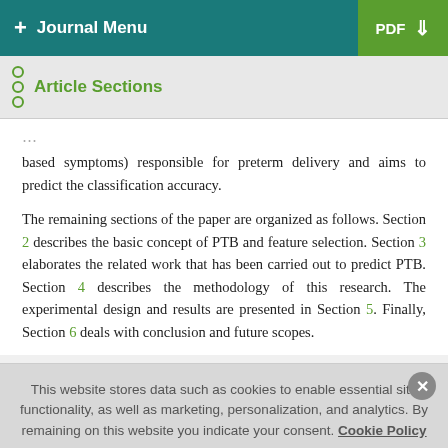+ Journal Menu | PDF ↓
Article Sections
based symptoms) responsible for preterm delivery and aims to predict the classification accuracy.
The remaining sections of the paper are organized as follows. Section 2 describes the basic concept of PTB and feature selection. Section 3 elaborates the related work that has been carried out to predict PTB. Section 4 describes the methodology of this research. The experimental design and results are presented in Section 5. Finally, Section 6 deals with conclusion and future scopes.
This website stores data such as cookies to enable essential site functionality, as well as marketing, personalization, and analytics. By remaining on this website you indicate your consent. Cookie Policy